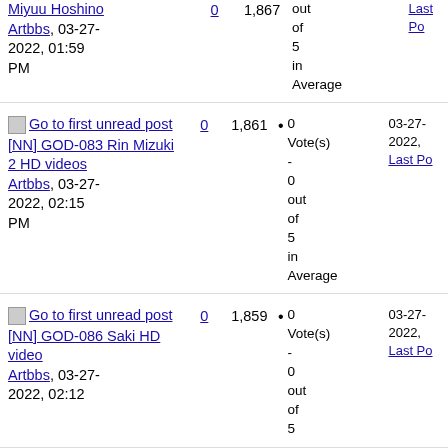| Title | Replies | Views | Rating | Last Post |
| --- | --- | --- | --- | --- |
| [image] Go to first unread post
[NN] GOD-083 Rin Mizuki 2 HD videos
Artbbs, 03-27-2022, 02:15 PM | 0 | 1,861 | 0 Vote(s) - 0 out of 5 in Average | 03-27-2022, Last Po... |
| [image] Go to first unread post
[NN] GOD-086 Saki HD video
Artbbs, 03-27-2022, 02:12 | 0 | 1,859 | 0 Vote(s) - 0 out of 5 in Average | 03-27-2022, Last Po... |